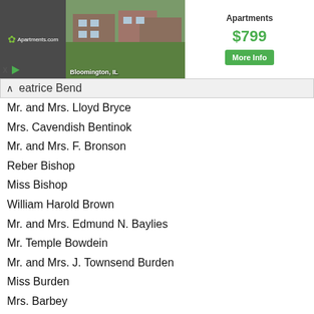[Figure (screenshot): Apartments.com advertisement banner showing apartment photo in Bloomington, IL with price $799 and More Info button]
Beatrice Bend
Mr. and Mrs. Lloyd Bryce
Mrs. Cavendish Bentinok
Mr. and Mrs. F. Bronson
Reber Bishop
Miss Bishop
William Harold Brown
Mr. and Mrs. Edmund N. Baylies
Mr. Temple Bowdein
Mr. and Mrs. J. Townsend Burden
Miss Burden
Mrs. Barbey
Miss Barbey
Harold Brown
Edward Bulkley
Mr. and Mrs. James L. Barclay
C.C. Baldwin
Miss Baldwin
C.C. Baldwin Jr.